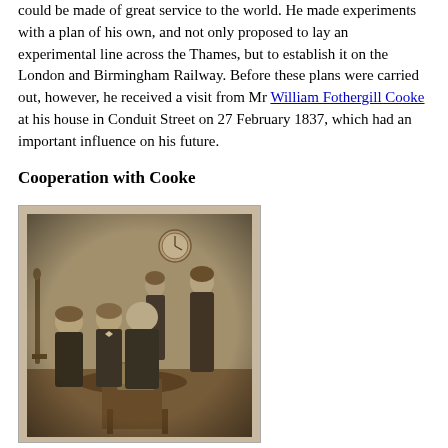could be made of great service to the world. He made experiments with a plan of his own, and not only proposed to lay an experimental line across the Thames, but to establish it on the London and Birmingham Railway. Before these plans were carried out, however, he received a visit from Mr William Fothergill Cooke at his house in Conduit Street on 27 February 1837, which had an important influence on his future.
Cooperation with Cooke
[Figure (photo): A sepia-toned Victorian group portrait photograph showing five men, some seated and some standing, gathered around a table. A clock is visible on the wall in the background, and a telescope is visible on the left side.]